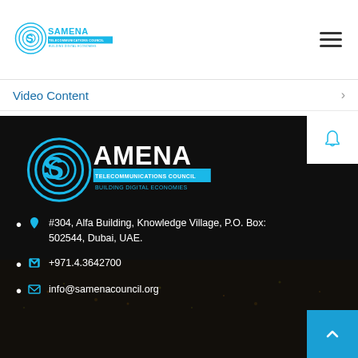SAMENA TELECOMMUNICATIONS COUNCIL - BUILDING DIGITAL ECONOMIES
Video Content
[Figure (logo): SAMENA Telecommunications Council - Building Digital Economies logo in white/blue on dark background]
#304, Alfa Building, Knowledge Village, P.O. Box: 502544, Dubai, UAE.
+971.4.3642700
info@samenacouncil.org